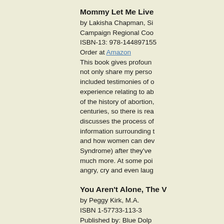Mommy Let Me Live
by Lakisha Chapman, Si Campaign Regional Coo ISBN-13: 978-1448971559 Order at Amazon This book gives profound not only share my person included testimonies of o experience relating to ab of the history of abortion, centuries, so there is rea discusses the process of information surrounding t and how women can dev Syndrome) after they've much more. At some poi angry, cry and even laug
You Aren't Alone, The V
by Peggy Kirk, M.A.
ISBN 1-57733-113-3
Published by: Blue Dolp Nevada City, CA 95959,
$16.95